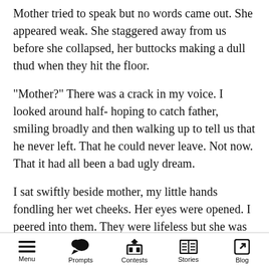Mother tried to speak but no words came out. She appeared weak. She staggered away from us before she collapsed, her buttocks making a dull thud when they hit the floor.
"Mother?" There was a crack in my voice. I looked around half- hoping to catch father, smiling broadly and then walking up to tell us that he never left. That he could never leave. Not now. That it had all been a bad ugly dream.
I sat swiftly beside mother, my little hands fondling her wet cheeks. Her eyes were opened. I peered into them. They were lifeless but she was still breathing and just staring. She had a distant look as if her spirit had travelled out far
Menu  Prompts  Contests  Stories  Blog